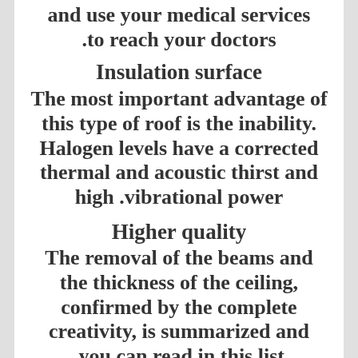and use your medical services .to reach your doctors
Insulation surface
The most important advantage of this type of roof is the inability. Halogen levels have a corrected thermal and acoustic thirst and high .vibrational power
Higher quality
The removal of the beams and the thickness of the ceiling, confirmed by the complete creativity, is summarized and .you can read in this list